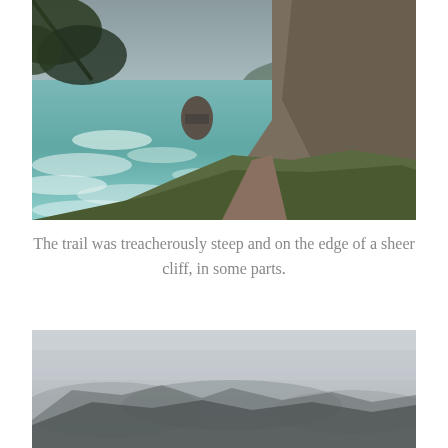[Figure (photo): Aerial view of a steep coastal trail along the edge of a sheer cliff with turquoise ocean waves below, a large rock formation in the water, green vegetation along the cliff edge, and conifer trees framing the top-left of the image.]
The trail was treacherously steep and on the edge of a sheer cliff, in some parts.
[Figure (photo): Misty foggy view of coastal cliffs and headlands shrouded in grey fog, with dark silhouettes of rocky promontories fading into the distance.]